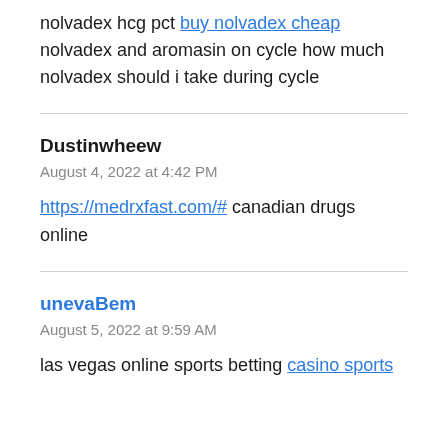nolvadex hcg pct buy nolvadex cheap nolvadex and aromasin on cycle how much nolvadex should i take during cycle
Dustinwheew
August 4, 2022 at 4:42 PM
https://medrxfast.com/# canadian drugs online
unevaBem
August 5, 2022 at 9:59 AM
las vegas online sports betting casino sports